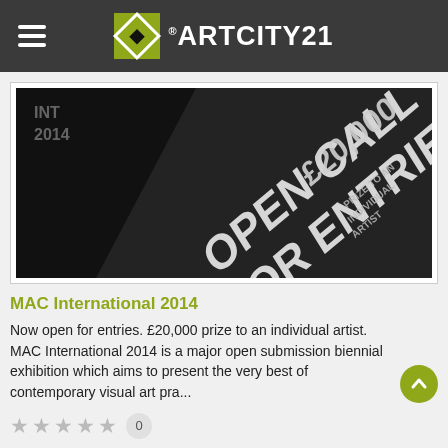ARTCITY21
[Figure (photo): Dark promotional image with text 'OPEN CALL FOR ENTRIES £20,000 PRIZE TO AN INDIVIDUAL ARTIST' and '2014' in the top left corner, on a dark gradient background.]
MAC International 2014
Now open for entries. £20,000 prize to an individual artist. MAC International 2014 is a major open submission biennial exhibition which aims to present the very best of contemporary visual art pra...